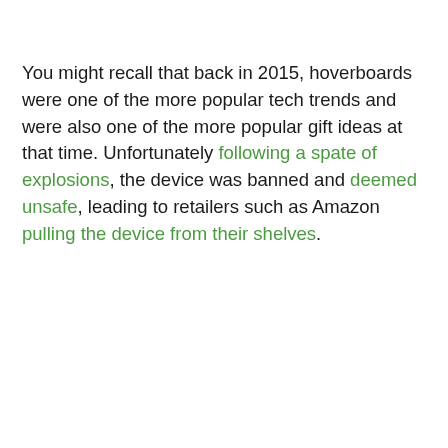You might recall that back in 2015, hoverboards were one of the more popular tech trends and were also one of the more popular gift ideas at that time. Unfortunately following a spate of explosions, the device was banned and deemed unsafe, leading to retailers such as Amazon pulling the device from their shelves.